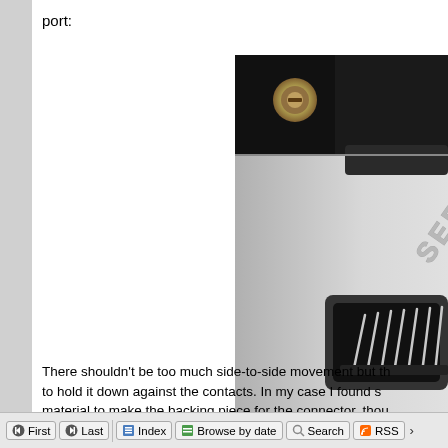port:
[Figure (photo): Close-up photograph of a serial port connector on a device, showing the word SERIAL embossed on a light grey plastic panel and metal pins visible in a black connector housing.]
There shouldn't be too much side-to-side movement but there needs to be something to hold it down against the contacts. In my case I found some suitable material to make the backing piece for the connector, thou
First  Last    Index  Browse by date  Search  RSS